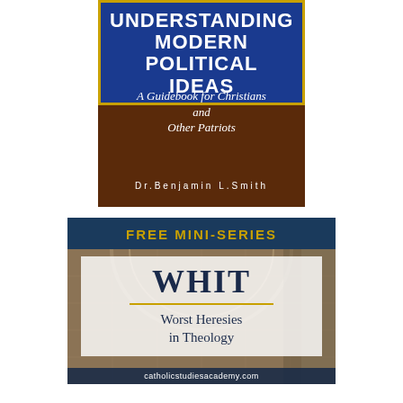[Figure (illustration): Book cover: 'Understanding Modern Political Ideas — A Guidebook for Christians and Other Patriots' by Dr. Benjamin L. Smith. Dark brown/terracotta textured background with blue banner at top containing the title in white uppercase, subtitle in white italic, and author name in white spaced letters at the bottom.]
[Figure (illustration): Promotional banner for a free mini-series called WHIT (Worst Heresies in Theology) from catholicstudiesacademy.com. Dark navy blue header with golden 'FREE MINI-SERIES' text, architectural cathedral interior background, white semi-transparent overlay with large 'WHIT' text and subtitle 'Worst Heresies in Theology', dark footer with website URL.]